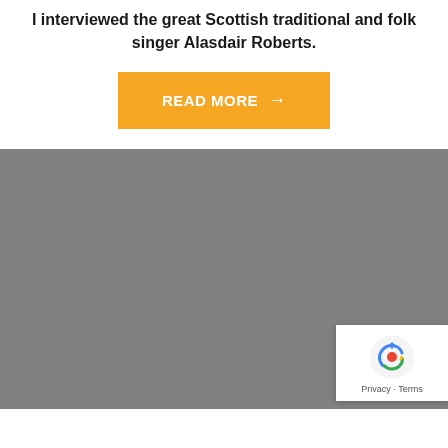I interviewed the great Scottish traditional and folk singer Alasdair Roberts.
[Figure (other): Orange 'READ MORE →' button]
[Figure (photo): Large gray placeholder image area with reCAPTCHA badge in bottom-right corner]